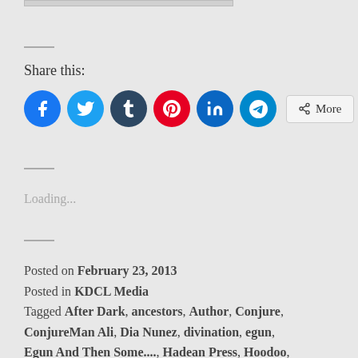Share this:
[Figure (infographic): Social share buttons: Facebook (blue circle), Twitter (light blue circle), Tumblr (dark blue circle), Pinterest (red circle), LinkedIn (blue circle), Telegram (teal circle), and a More button]
Loading...
Posted on February 23, 2013
Posted in KDCL Media
Tagged After Dark, ancestors, Author, Conjure, ConjureMan Ali, Dia Nunez, divination, egun, Egun And Then Some...., Hadean Press, Hoodoo,